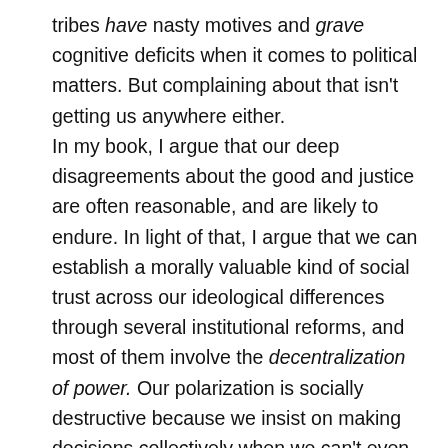tribes have nasty motives and grave cognitive deficits when it comes to political matters. But complaining about that isn't getting us anywhere either.
In my book, I argue that our deep disagreements about the good and justice are often reasonable, and are likely to endure. In light of that, I argue that we can establish a morally valuable kind of social trust across our ideological differences through several institutional reforms, and most of them involve the decentralization of power. Our polarization is socially destructive because we insist on making decisions collectively when we can't even begin to agree on what the collective decision should be.